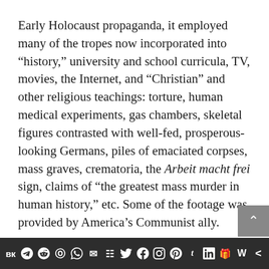Early Holocaust propaganda, it employed many of the tropes now incorporated into “history,” university and school curricula, TV, movies, the Internet, and “Christian” and other religious teachings: torture, human medical experiments, gas chambers, skeletal figures contrasted with well-fed, prosperous-looking Germans, piles of emaciated corpses, mass graves, crematoria, the Arbeit macht frei sign, claims of “the greatest mass murder in human history,” etc. Some of the footage was provided by America’s Communist ally.
Even England’s extremist Guardian newspaper, which worships Jews and promotes White
[Figure (other): Social share bar at the bottom with icons for VK, Telegram, Reddit, WordPress, WhatsApp, Email, Buffer, Twitter, Facebook, Instagram, Pinterest, Tumblr, LinkedIn, Share, Weibo, and a scroll-to-top button]